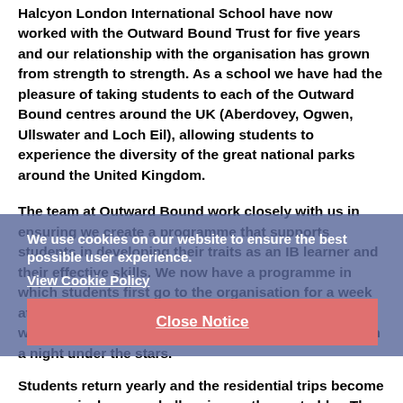Halcyon London International School have now worked with the Outward Bound Trust for five years and our relationship with the organisation has grown from strength to strength. As a school we have had the pleasure of taking students to each of the Outward Bound centres around the UK (Aberdovey, Ogwen, Ullswater and Loch Eil), allowing students to experience the diversity of the great national parks around the United Kingdom.
The team at Outward Bound work closely with us in ensuring we create a programme that supports students in developing their traits as an IB learner and their effective skills. We now have a programme in which students first go to the organisation for a week at the age of 12. During this week they develop team-working skills through a week of shorter activities with a night under the stars.
Students return yearly and the residential trips become progressively more challenging as they get older. The
We use cookies on our website to ensure the best possible user experience.
View Cookie Policy
Close Notice